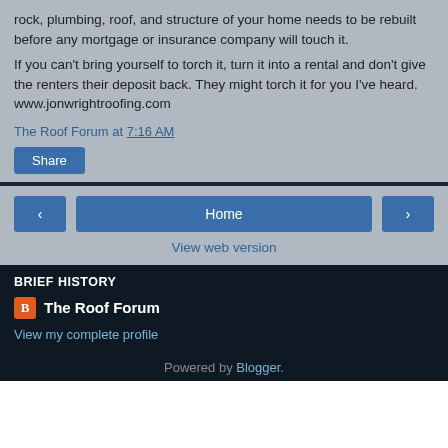rock, plumbing, roof, and structure of your home needs to be rebuilt before any mortgage or insurance company will touch it.
If you can't bring yourself to torch it, turn it into a rental and don't give the renters their deposit back. They might torch it for you I've heard.
www.jonwrightroofing.com
The Roof Forum at 7:16 AM
Share
< Home >
View web version
BRIEF HISTORY
The Roof Forum
View my complete profile
Powered by Blogger.